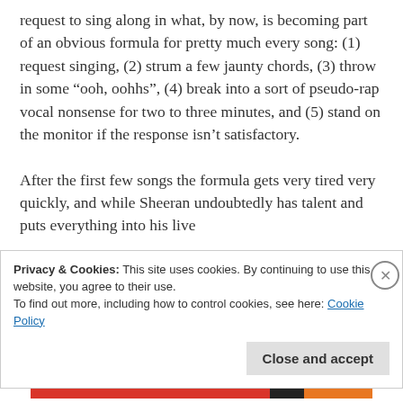request to sing along in what, by now, is becoming part of an obvious formula for pretty much every song: (1) request singing, (2) strum a few jaunty chords, (3) throw in some “ooh, oohhs”, (4) break into a sort of pseudo-rap vocal nonsense for two to three minutes, and (5) stand on the monitor if the response isn’t satisfactory.

After the first few songs the formula gets very tired very quickly, and while Sheeran undoubtedly has talent and puts everything into his live
Privacy & Cookies: This site uses cookies. By continuing to use this website, you agree to their use.
To find out more, including how to control cookies, see here: Cookie Policy